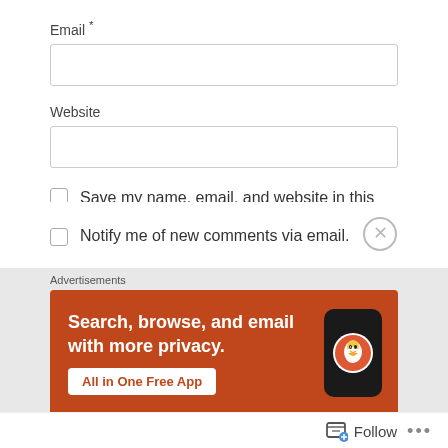Email *
Website
Save my name, email, and website in this browser for the next time I comment.
Post Comment
Notify me of new comments via email.
Advertisements
[Figure (screenshot): DuckDuckGo advertisement banner with orange background, text 'Search, browse, and email with more privacy.' and an 'All in One Free App' button, with a phone mockup showing the DuckDuckGo logo.]
Follow
...